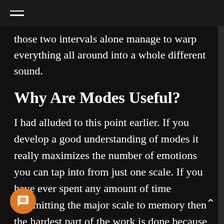≡
those two intervals alone manage to warp everything all around into a whole different sound.
Why Are Modes Useful?
I had alluded to this point earlier. If you develop a good understanding of modes it really maximizes the number of emotions you can tap into from just one scale. If you have ever spent any amount of time committing the major scale to memory then the hardest part of the work is done because all of those scale